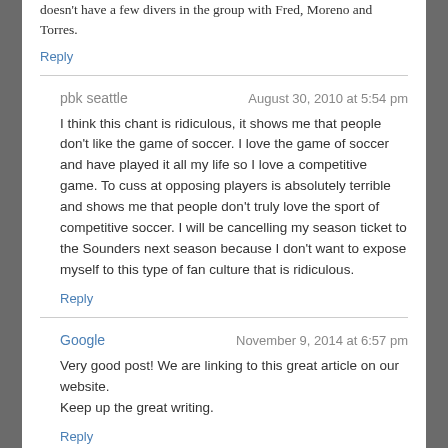doesn't have a few divers in the group with Fred, Moreno and Torres.
Reply
pbk seattle — August 30, 2010 at 5:54 pm
I think this chant is ridiculous, it shows me that people don't like the game of soccer. I love the game of soccer and have played it all my life so I love a competitive game. To cuss at opposing players is absolutely terrible and shows me that people don't truly love the sport of competitive soccer. I will be cancelling my season ticket to the Sounders next season because I don't want to expose myself to this type of fan culture that is ridiculous.
Reply
Google — November 9, 2014 at 6:57 pm
Very good post! We are linking to this great article on our website.
Keep up the great writing.
Reply